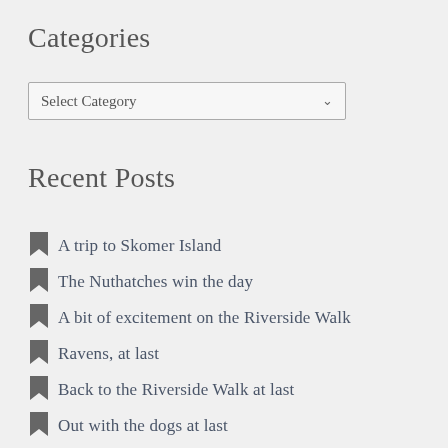Categories
[Figure (screenshot): A dropdown selector widget with label 'Select Category' and a dropdown arrow on the right.]
Recent Posts
A trip to Skomer Island
The Nuthatches win the day
A bit of excitement on the Riverside Walk
Ravens, at last
Back to the Riverside Walk at last
Out with the dogs at last
Battle of the beetles
A Gallery Experiment
Aliens under our feet
Finding joy in small things